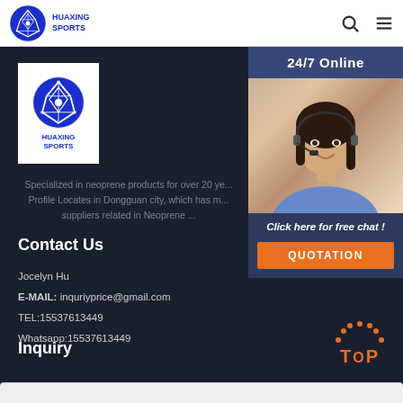HUAXING SPORTS [logo] [search icon] [menu icon]
[Figure (logo): Huaxing Sports company logo - blue circular emblem with HUAXING SPORTS text]
[Figure (photo): 24/7 Online chat widget showing a woman with headset smiling, with Click here for free chat text and QUOTATION orange button]
Specialized in neoprene products for over 20 ye... Profile Locates in Dongguan city, which has m... suppliers related in Neoprene ...
Contact Us
Jocelyn Hu
E-MAIL: inquriyprice@gmail.com
TEL:15537613449
Whatsapp:15537613449
Inquiry
[Figure (other): Orange TOP button with arc dots above]